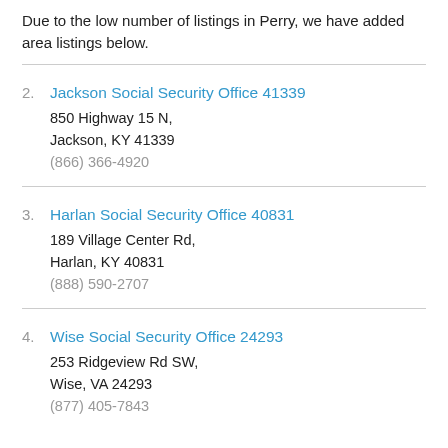Due to the low number of listings in Perry, we have added area listings below.
2. Jackson Social Security Office 41339
850 Highway 15 N,
Jackson, KY 41339
(866) 366-4920
3. Harlan Social Security Office 40831
189 Village Center Rd,
Harlan, KY 40831
(888) 590-2707
4. Wise Social Security Office 24293
253 Ridgeview Rd SW,
Wise, VA 24293
(877) 405-7843